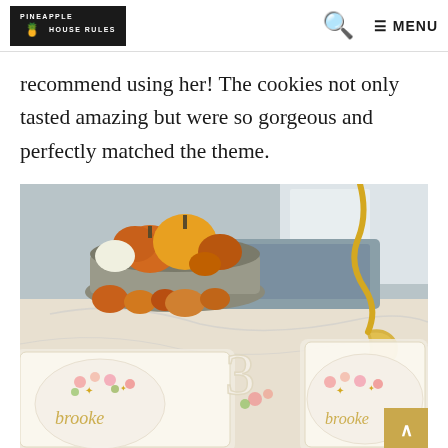PINEAPPLE HOUSE RULES — search — MENU
recommend using her! The cookies not only tasted amazing but were so gorgeous and perfectly matched the theme.
[Figure (photo): Photo of decorated birthday cookies with 'Brooke' written in gold icing, packaged in clear bags, on a kitchen counter with pumpkins and a metal tiered tray in the background. Gold ribbon curls visible on the right side.]